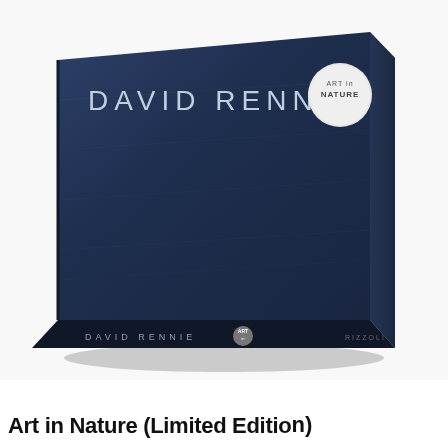[Figure (photo): Photograph of a dark navy blue hardcover book titled 'DAVID RENNIE' with a circular 'ART in NATURE' badge on the cover. The book is shown in a slight perspective/angled view revealing the front cover and bottom spine. The spine reads 'DAVID RENNIE' with the same badge and a publisher name.]
Art in Nature (Limited Edition)